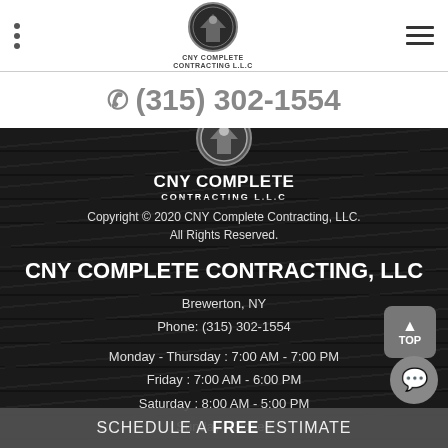CNY Complete Contracting LLC — navigation bar with logo
(315) 302-1554
[Figure (logo): CNY Complete Contracting LLC circular logo on dark background]
CNY COMPLETE CONTRACTING L.L.C
Copyright © 2020 CNY Complete Contracting, LLC. All Rights Reserved.
CNY COMPLETE CONTRACTING, LLC
Brewerton, NY
Phone: (315) 302-1554
Monday - Thursday : 7:00 AM - 7:00 PM
Friday : 7:00 AM - 6:00 PM
Saturday : 8:00 AM - 5:00 PM
Sunday : Closed
SCHEDULE A FREE ESTIMATE